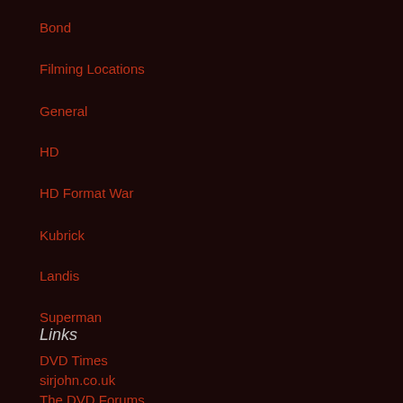Bond
Filming Locations
General
HD
HD Format War
Kubrick
Landis
Superman
Links
DVD Times
sirjohn.co.uk
The DVD Forums